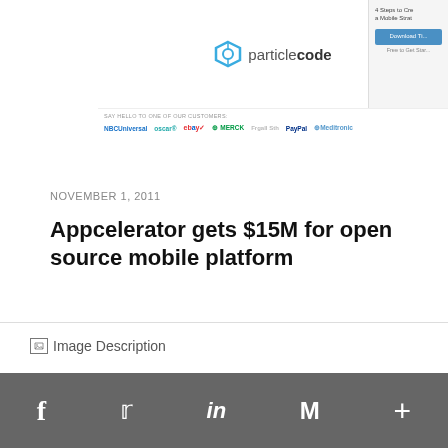[Figure (screenshot): Screenshot of particlecode website showing the particlecode logo, a download button, customer logos including NBCUniversal, eBay, Merck, PayPal]
NOVEMBER 1, 2011
Appcelerator gets $15M for open source mobile platform
[Figure (photo): Broken image placeholder labeled 'Image Description']
f  Twitter  in  M  +